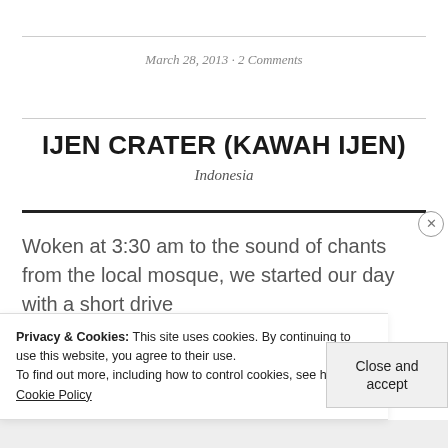March 28, 2013 · 2 Comments
IJEN CRATER (KAWAH IJEN)
Indonesia
Woken at 3:30 am to the sound of chants from the local mosque, we started our day with a short drive
Privacy & Cookies: This site uses cookies. By continuing to use this website, you agree to their use. To find out more, including how to control cookies, see here: Cookie Policy
Close and accept